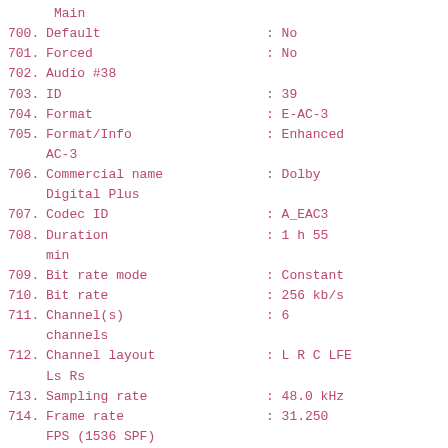Main
700. Default : No
701. Forced : No
702. Audio #38
703. ID : 39
704. Format : E-AC-3
705. Format/Info : Enhanced AC-3
706. Commercial name : Dolby Digital Plus
707. Codec ID : A_EAC3
708. Duration : 1 h 55 min
709. Bit rate mode : Constant
710. Bit rate : 256 kb/s
711. Channel(s) : 6 channels
712. Channel layout : L R C LFE Ls Rs
713. Sampling rate : 48.0 kHz
714. Frame rate : 31.250 FPS (1536 SPF)
715. Compression mode : Lossy
716. Stream size : 211 MiB (1%)
717. Language : Hungarian